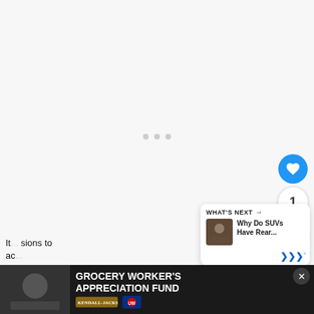[Figure (other): Loading spinner with three gray dots centered on a light gray background area]
[Figure (other): Blue circular like/heart button with heart icon, count '1', and share button below on right side]
[Figure (other): What's Next card showing 'Why Do SUVs Have Rear...' with thumbnail image]
It... sions to ac...
[Figure (other): Advertisement banner: GROCERY WORKER'S APPRECIATION FUND with Kendall-Jackson and United Way logos on dark background]